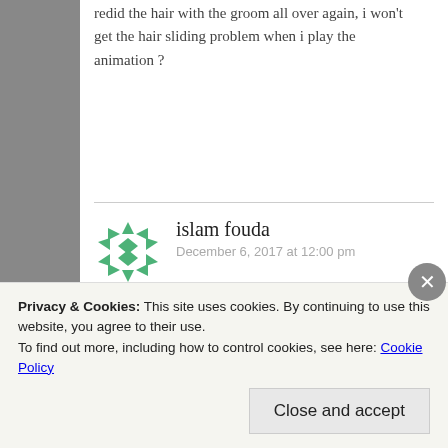redid the hair with the groom all over again, i won't get the hair sliding problem when i play the animation ?
islam fouda
December 6, 2017 at 12:00 pm
So i made a brand new file with just the model and i made simple yeti node + simple groom, then i applied a bend deformer then cached the hair simulation, and i still get the same problem. the
Privacy & Cookies: This site uses cookies. By continuing to use this website, you agree to their use.
To find out more, including how to control cookies, see here: Cookie Policy
Close and accept